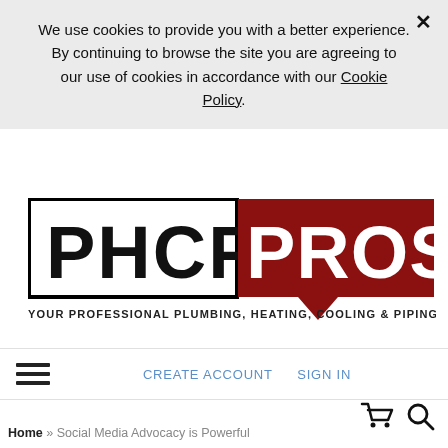We use cookies to provide you with a better experience. By continuing to browse the site you are agreeing to our use of cookies in accordance with our Cookie Policy.
[Figure (logo): PHCP Pros logo — left half shows 'PHCP' in bold black text inside a black rectangle border on white background; right half shows 'PROS' in bold white text on dark red background with a speech bubble tail. Below reads: YOUR PROFESSIONAL PLUMBING, HEATING, COOLING & PIPING COMMUNITY]
CREATE ACCOUNT   SIGN IN
Home » Social Media Advocacy is Powerful